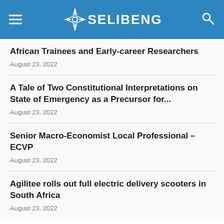OSELIBENG
African Trainees and Early-career Researchers
August 23, 2022
A Tale of Two Constitutional Interpretations on State of Emergency as a Precursor for...
August 23, 2022
Senior Macro-Economist Local Professional – ECVP
August 23, 2022
Agilitee rolls out full electric delivery scooters in South Africa
August 23, 2022